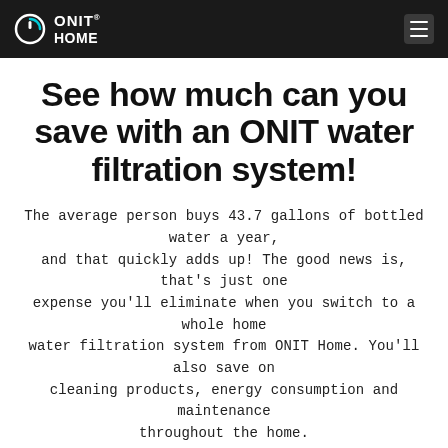ONIT HOME
See how much can you save with an ONIT water filtration system!
The average person buys 43.7 gallons of bottled water a year, and that quickly adds up! The good news is, that's just one expense you'll eliminate when you switch to a whole home water filtration system from ONIT Home. You'll also save on cleaning products, energy consumption and maintenance throughout the home.
Enter your average expenses in the boxes below to estimate your cost savings